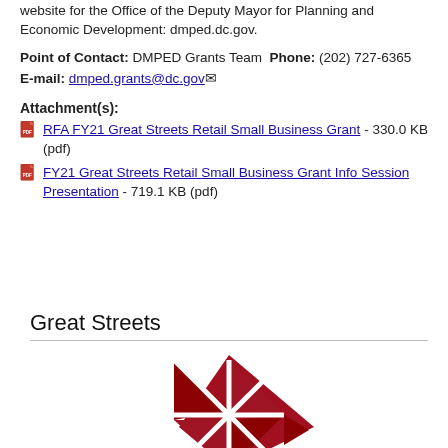website for the Office of the Deputy Mayor for Planning and Economic Development: dmped.dc.gov.
Point of Contact: DMPED Grants Team  Phone: (202) 727-6365  E-mail: dmped.grants@dc.gov
Attachment(s):
RFA FY21 Great Streets Retail Small Business Grant - 330.0 KB (pdf)
FY21 Great Streets Retail Small Business Grant Info Session Presentation - 719.1 KB (pdf)
Great Streets
[Figure (logo): Great Streets logo: a dark red diamond/arrow shape with white grid lines forming a cross pattern inside, below which reads GREAT STREETS in dark navy capital letters with a small DC icon in the middle]